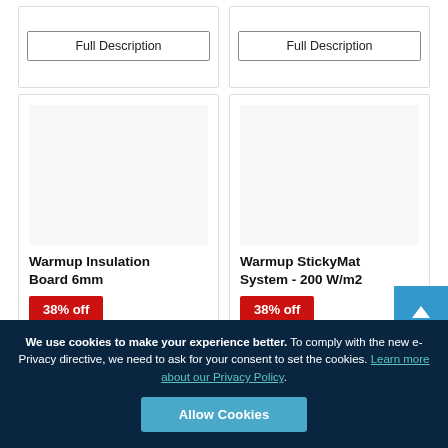Full Description
Full Description
Warmup Insulation Board 6mm
38% off
Warmup StickyMat System - 200 W/m2
38% off
We use cookies to make your experience better. To comply with the new e-Privacy directive, we need to ask for your consent to set the cookies. Learn more about our Privacy Policy. Allow Cookies